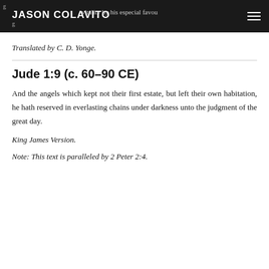JASON COLAVITO — vitality by his especial favour
Translated by C. D. Yonge.
Jude 1:9 (c. 60–90 CE)
And the angels which kept not their first estate, but left their own habitation, he hath reserved in everlasting chains under darkness unto the judgment of the great day.
King James Version.
Note: This text is paralleled by 2 Peter 2:4.